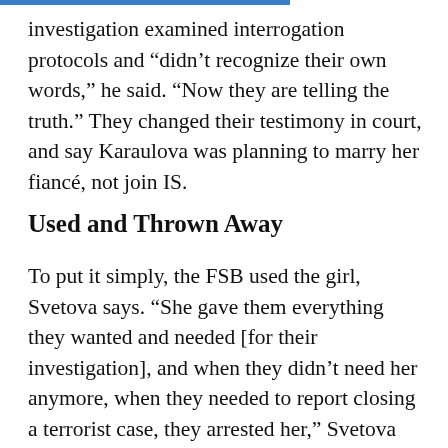investigation examined interrogation protocols and “didn’t recognize their own words,” he said. “Now they are telling the truth.” They changed their testimony in court, and say Karaulova was planning to marry her fiancé, not join IS.
Used and Thrown Away
To put it simply, the FSB used the girl, Svetova says. “She gave them everything they wanted and needed [for their investigation], and when they didn’t need her anymore, when they needed to report closing a terrorist case, they arrested her,” Svetova told The Moscow Times. “It is much more difficult to catch real terrorists and spies, and Varvara was an easy target.” This, she says, is why Karaulova’s case stands